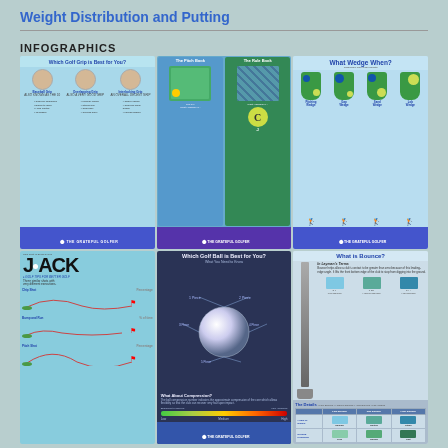Weight Distribution and Putting
INFOGRAPHICS
[Figure (infographic): Which Golf Grip is Best for You? showing Baseball Grip, Overlapping Grip, and Interlocking Grip with illustrations and bullet points. Footer: THE GRATEFUL GOLFER]
[Figure (infographic): The Pitch Book and The Rule Book infographics side by side showing golf pitch and rule diagrams with diagrams of golf course scenarios]
[Figure (infographic): What Wedge When? showing four golf shoe/wedge diagrams for Pitching Wedge, Gap Wedge, Sand Wedge and Lob Wedge with golfer silhouettes. Footer: THE GRATEFUL GOLFER]
[Figure (infographic): JACK - Three similar shots with very different results. Shows Chip Shot, Bump and Run, and Pitch Shot arc diagrams with trajectory curves and flags.]
[Figure (infographic): Which Golf Ball is Best for You? What You Need to Know - showing a golf ball diagram with rays indicating ball properties, and a compression section with Low/Medium/High bar from Beginning to Improve to Low Handicap. Footer: THE GRATEFUL GOLFER]
[Figure (infographic): What is Bounce? In Layman's Terms - club diagram with description, Low Bounce/Medium Bounce/High Bounce angle illustrations, and The Details table showing Angle of Whack, Ground Condition rows versus Low/Mid/High Bounce columns]